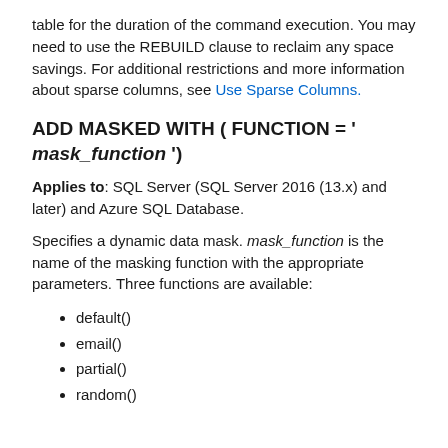table for the duration of the command execution. You may need to use the REBUILD clause to reclaim any space savings. For additional restrictions and more information about sparse columns, see Use Sparse Columns.
ADD MASKED WITH ( FUNCTION = ' mask_function ')
Applies to: SQL Server (SQL Server 2016 (13.x) and later) and Azure SQL Database.
Specifies a dynamic data mask. mask_function is the name of the masking function with the appropriate parameters. Three functions are available:
default()
email()
partial()
random()